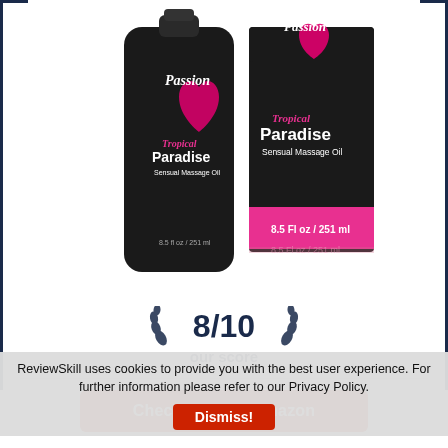[Figure (photo): Product photo of Passion Tropical Paradise Sensual Massage Oil, 8.5 Fl oz / 251 ml — black bottle with pink heart logo and matching product box]
8/10
our score
Check Price At Amazon
ReviewSkill uses cookies to provide you with the best user experience. For further information please refer to our Privacy Policy.
Dismiss!